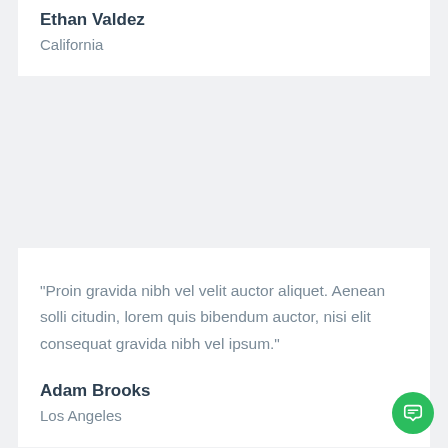Ethan Valdez
California
“Proin gravida nibh vel velit auctor aliquet. Aenean solli citudin, lorem quis bibendum auctor, nisi elit consequat gravida nibh vel ipsum.”
Adam Brooks
Los Angeles